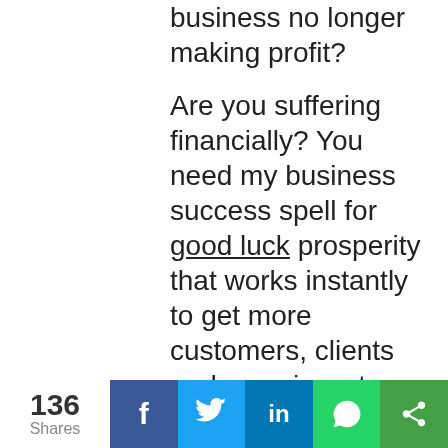business no longer making profit?

Are you suffering financially? You need my business success spell for good luck prosperity that works instantly to get more customers, clients and even investors in your business. Change the situation for the better using my powerful Business Success spell.

Does your business need a boost? Times are tough and getting new clients or making more sales are difficult task
136 Shares | Facebook | Twitter | LinkedIn | WhatsApp | Share